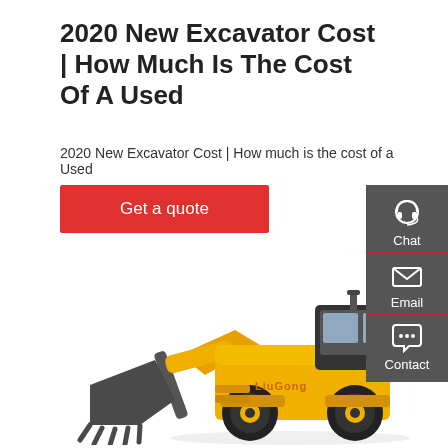2020 New Excavator Cost | How Much Is The Cost Of A Used
2020 New Excavator Cost | How much is the cost of a Used
Get a quote
[Figure (illustration): Yellow LiuGong wheel loader / front-end loader with black bucket attachment, on white background]
Chat
Email
Contact